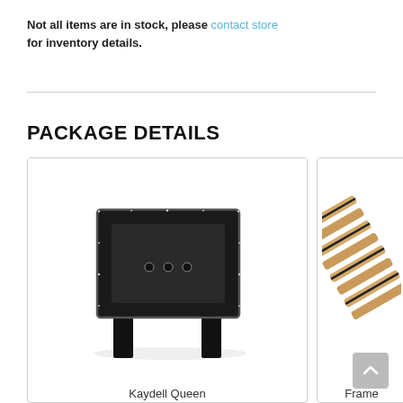Not all items are in stock, please contact store for inventory details.
PACKAGE DETAILS
[Figure (photo): Kaydell Queen upholstered headboard in black with tufted buttons and rhinestone accents, shown against white background]
Kaydell Queen
[Figure (photo): Partially visible frame/slat system made of wooden slats with black elastic, product partially cropped on right side of page]
Frame